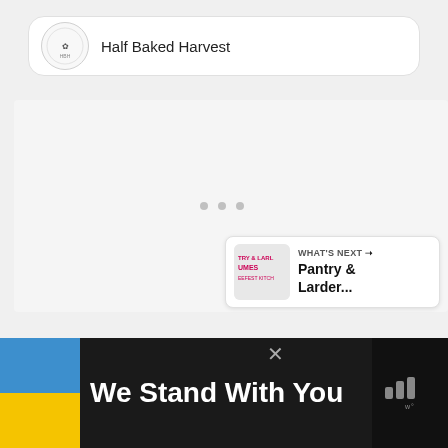[Figure (screenshot): Half Baked Harvest website header card with logo and site name]
[Figure (screenshot): Loading content area with three gray dots indicator]
[Figure (screenshot): Blue heart favorite button and white share button on right side]
[Figure (screenshot): What's Next panel showing Pantry & Larder...]
[Figure (screenshot): Bottom banner: Ukraine flag colors with We Stand With You text and Wondery logo]